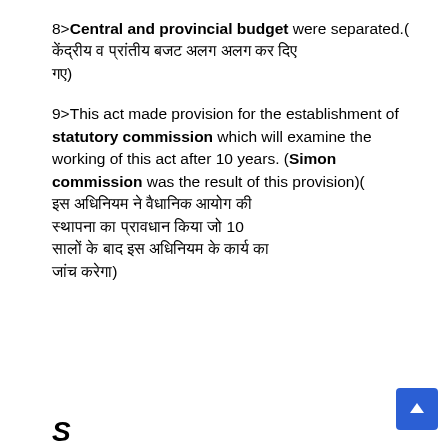8> Central and provincial budget were separated.( केंद्रीय व प्रांतीय बजट अलग अलग कर दिए गए)
9>This act made provision for the establishment of statutory commission which will examine the working of this act after 10 years. (Simon commission was the result of this provision)( इस अधिनियम ने वैधानिक आयोग की स्थापना का प्रावधान किया जो 10 सालों के बाद इस अधिनियम के कार्य का जांच करेगा)